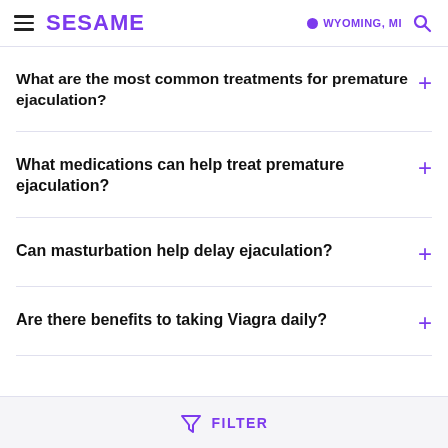SESAME | WYOMING, MI
What are the most common treatments for premature ejaculation?
What medications can help treat premature ejaculation?
Can masturbation help delay ejaculation?
Are there benefits to taking Viagra daily?
FILTER